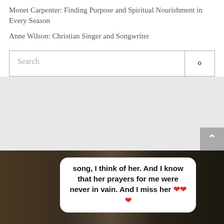Monet Carpenter: Finding Purpose and Spiritual Nourishment in Every Season
Anne Wilson: Christian Singer and Songwriter
[Figure (screenshot): Search bar input field with search button icon on the right]
[Figure (photo): Gray background section with a scroll-to-top button in the lower right corner]
[Figure (screenshot): Photo with overlaid white speech bubble quote: 'song, I think of her. And I know that her prayers for me were never in vain. And I miss her ❤️❤️❤️']